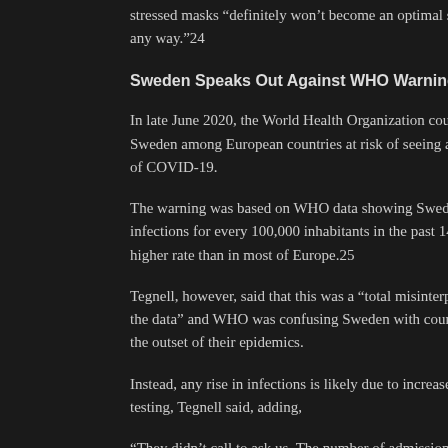stressed masks “definitely won’t become an optimal solution in any way.”24
Sweden Speaks Out Against WHO Warning
In late June 2020, the World Health Organization counted Sweden among European countries at risk of seeing a resurgence of COVID-19.
The warning was based on WHO data showing Sweden had 155 infections for every 100,000 inhabitants in the past 14 days, a higher rate than in most of Europe.25
Tegnell, however, said that this was a “total misinterpretation of the data” and WHO was confusing Sweden with countries just at the outset of their epidemics.
Instead, any rise in infections is likely due to increases in testing, Tegnell said, adding,
“They didn’t call to ask us. The number of admissions to